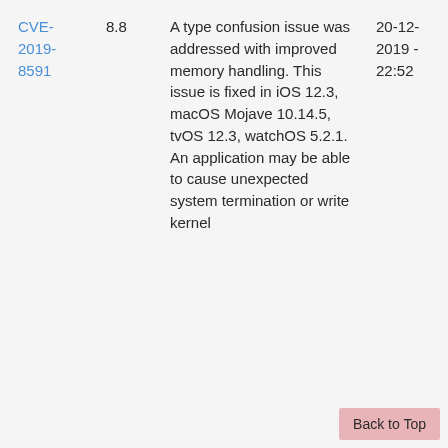| CVE | Score | Description | Date1 | Date2 |
| --- | --- | --- | --- | --- |
| CVE-2019-8591 | 8.8 | A type confusion issue was addressed with improved memory handling. This issue is fixed in iOS 12.3, macOS Mojave 10.14.5, tvOS 12.3, watchOS 5.2.1. An application may be able to cause unexpected system termination or write kernel | 20-12-2019 - 22:52 | 18-12-2019 - 18:15 |
Back to Top